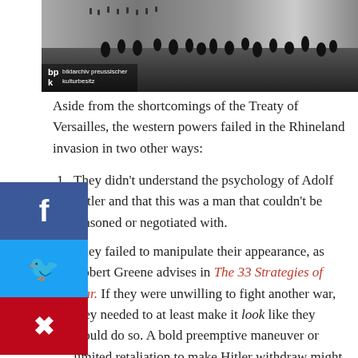[Figure (photo): Black and white historical photograph showing soldiers/figures, with bpk bildarchiv preussischer kulturbesitz watermark]
Aside from the shortcomings of the Treaty of Versailles, the western powers failed in the Rhineland invasion in two other ways:
They didn't understand the psychology of Adolf Hitler and that this was a man that couldn't be reasoned or negotiated with.
They failed to manipulate their appearance, as Robert Greene advises in The 33 Strategies of War. If they were unwilling to fight another war, they needed to at least make it look like they would do so. A bold preemptive maneuver or limited retaliation to make Hitler withdraw might have done the trick and make him think twice. This was precisely what the American ambassador relayed to President Roosevelt at the